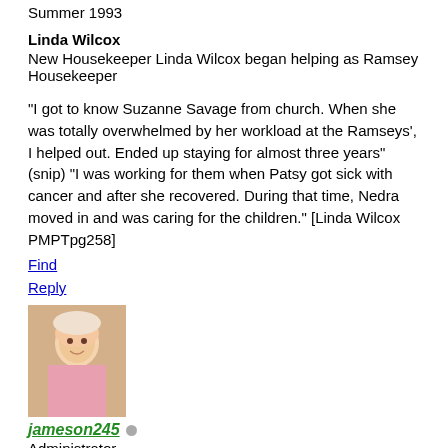Summer 1993
Linda Wilcox
New Housekeeper Linda Wilcox began helping as Ramsey Housekeeper
"I got to know Suzanne Savage from church. When she was totally overwhelmed by her workload at the Ramseys', I helped out. Ended up staying for almost three years" (snip) "I was working for them when Patsy got sick with cancer and after she recovered. During that time, Nedra moved in and was caring for the children." [Linda Wilcox PMPTpg258]
Find
Reply
[Figure (photo): Avatar photo of a young child in pink clothing]
jameson245 (offline)
Administrator
★★★★★
Posts: 4,878
Threads: 1,588
Joined: Jan 2017
#5
01-28-2021, 02:04 PM